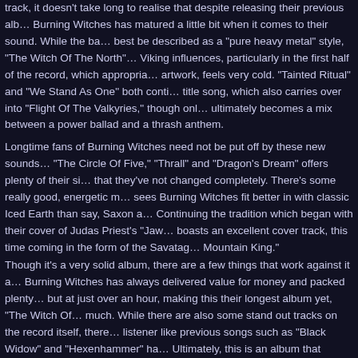track, it doesn't take long to realise that despite releasing their previous album, Burning Witches has matured a little bit when it comes to their sound. While the band can best be described as a "pure heavy metal" style, "The Witch Of The North" has strong Viking influences, particularly in the first half of the record, which appropriately, like the artwork, feels very cold. "Tainted Ritual" and "We Stand As One" both continue from the title song, which also carries over into "Flight Of The Valkyries," though only the latter ultimately becomes a mix between a power ballad and a thrash anthem.
Longtime fans of Burning Witches need not be put off by these new sounds, however, as "The Circle Of Five," "Thrall" and "Dragon's Dream" offers plenty of their signature style to show that they've not changed completely. There's some really good, energetic riffing here that sees Burning Witches fit better in with classic Iced Earth than say, Saxon and Accept. Continuing the tradition which began with their cover of Judas Priest's "Jawbreaker," this album boasts an excellent cover track, this time coming in the form of the Savatage classic, "Hall Of The Mountain King."
Though it's a very solid album, there are a few things that work against it a little. Firstly, Burning Witches has always delivered value for money and packed plenty of material on their albums, but at just over an hour, making this their longest album yet, "The Witch Of The North" is a bit too much. While there are also some stand out tracks on the record itself, there's nothing to grab the listener like previous songs such as "Black Widow" and "Hexenhammer" have. Ultimately, this is an album that probably won't become a fan favourite, but a solid piece of their catalogue, a la AC/DC's "Powerage" or Judas Priest's "Sin After Sin."